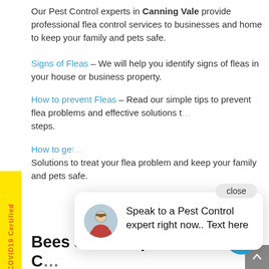Our Pest Control experts in Canning Vale provide professional flea control services to businesses and home to keep your family and pets safe.
Signs of Fleas – We will help you identify signs of fleas in your house or business property.
How to prevent Fleas – Read our simple tips to prevent flea problems and effective solutions to take the right steps.
How to get... Solutions to treat your flea problem and keep your family and pets safe.
[Figure (screenshot): Chat popup overlay with avatar photo of a man, text reading 'Speak to a Pest Control expert right now.. Text here', and a close button]
Bees and Wasps Control in Canning Vale